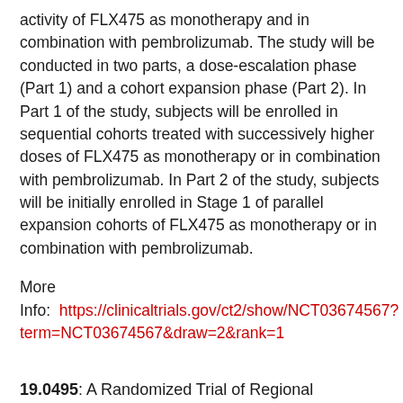activity of FLX475 as monotherapy and in combination with pembrolizumab. The study will be conducted in two parts, a dose-escalation phase (Part 1) and a cohort expansion phase (Part 2). In Part 1 of the study, subjects will be enrolled in sequential cohorts treated with successively higher doses of FLX475 as monotherapy or in combination with pembrolizumab. In Part 2 of the study, subjects will be initially enrolled in Stage 1 of parallel expansion cohorts of FLX475 as monotherapy or in combination with pembrolizumab.
More Info:  https://clinicaltrials.gov/ct2/show/NCT03674567?term=NCT03674567&draw=2&rank=1
19.0495: A Randomized Trial of Regional Radiotherapy in Biomarker Low Risk Node Positive Breast Cancer